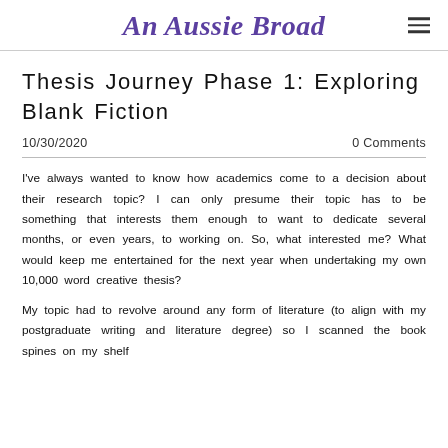An Aussie Broad
Thesis Journey Phase 1: Exploring Blank Fiction
10/30/2020   0 Comments
I've always wanted to know how academics come to a decision about their research topic? I can only presume their topic has to be something that interests them enough to want to dedicate several months, or even years, to working on. So, what interested me? What would keep me entertained for the next year when undertaking my own 10,000 word creative thesis?
My topic had to revolve around any form of literature (to align with my postgraduate writing and literature degree) so I scanned the book spines on my shelf